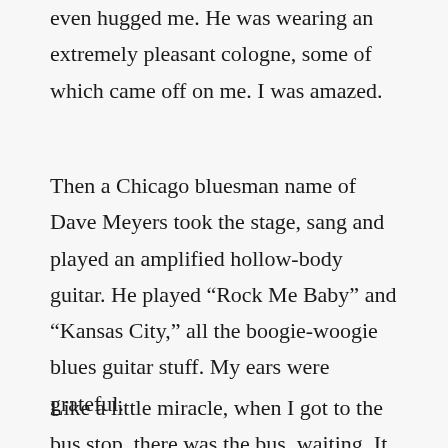even hugged me. He was wearing an extremely pleasant cologne, some of which came off on me. I was amazed.
Then a Chicago bluesman name of Dave Meyers took the stage, sang and played an amplified hollow-body guitar. He played “Rock Me Baby” and “Kansas City,” all the boogie-woogie blues guitar stuff. My ears were grateful.
Like a little miracle, when I got to the bus stop, there was the bus, waiting. It smelled like beer and puke, but it got me home in under 20 minutes. Not that I would have